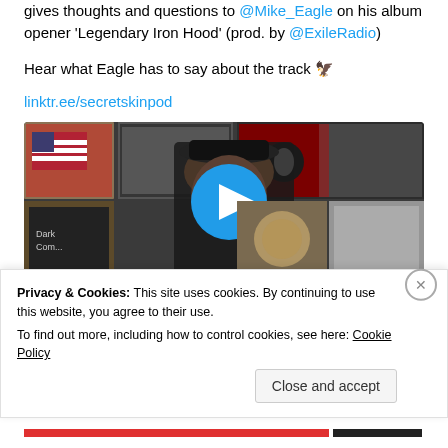gives thoughts and questions to @Mike_Eagle on his album opener 'Legendary Iron Hood' (prod. by @ExileRadio)

Hear what Eagle has to say about the track 🦅

linktr.ee/secretskinpod
[Figure (screenshot): Video thumbnail showing a person wearing a hat in front of a shelf of vinyl records, with a blue circular play button overlay in the center]
Privacy & Cookies: This site uses cookies. By continuing to use this website, you agree to their use.
To find out more, including how to control cookies, see here: Cookie Policy